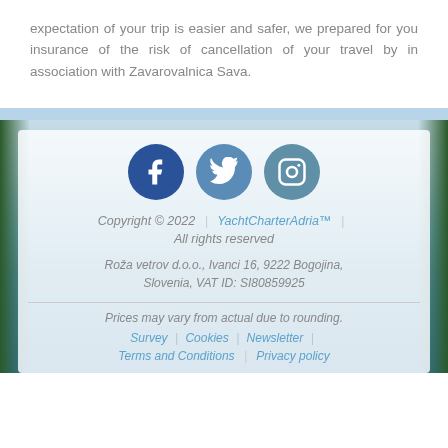expectation of your trip is easier and safer, we prepared for you insurance of the risk of cancellation of your travel by in association with Zavarovalnica Sava.
[Figure (illustration): Three social media icons: Facebook (dark blue circle with F), Twitter (medium blue circle with bird), Instagram (grey-blue circle with camera icon)]
Copyright © 2022 | YachtCharterAdria™ | All rights reserved
Roža vetrov d.o.o., Ivanci 16, 9222 Bogojina, Slovenia, VAT ID: SI80859925
Prices may vary from actual due to rounding.
Survey | Cookies | Newsletter | Terms and Conditions | Privacy policy